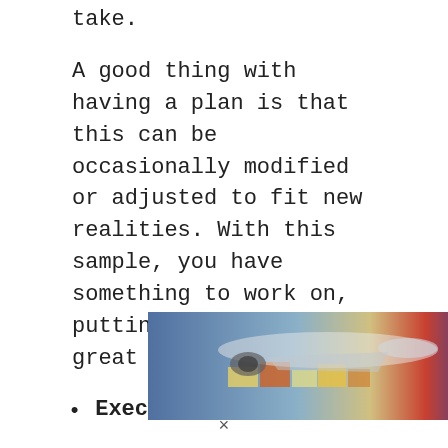take.
A good thing with having a plan is that this can be occasionally modified or adjusted to fit new realities. With this sample, you have something to work on, putting together a great plan.
Executive Summary
Guardian Angels is a roadside assistance business that will be providing a variety of rescue services to road users and
[Figure (photo): Advertisement banner showing an airplane being loaded with cargo on the left, and a dark panel on the right with text 'WITHOUT REGARD TO POLITICS, RELIGION OR ABILITY TO PAY']
×